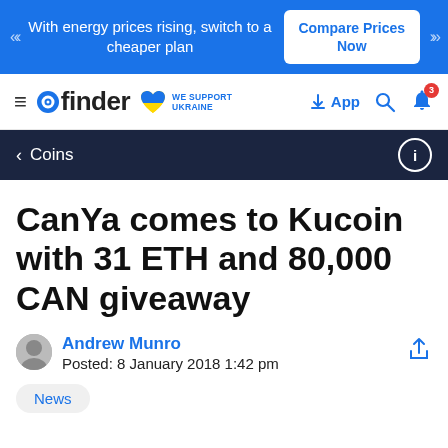With energy prices rising, switch to a cheaper plan | Compare Prices Now
finder | WE SUPPORT UKRAINE | App | Search | Notifications (3)
< Coins
CanYa comes to Kucoin with 31 ETH and 80,000 CAN giveaway
Andrew Munro
Posted: 8 January 2018 1:42 pm
News